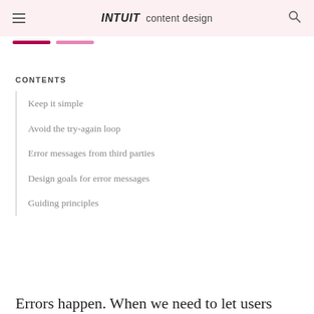INTUIT content design
[Figure (other): Two horizontal progress bar indicators: one dark magenta and one light pink]
CONTENTS
Keep it simple
Avoid the try-again loop
Error messages from third parties
Design goals for error messages
Guiding principles
Errors happen. When we need to let users